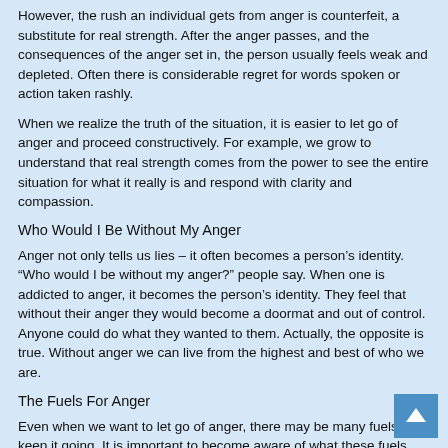However, the rush an individual gets from anger is counterfeit, a substitute for real strength. After the anger passes, and the consequences of the anger set in, the person usually feels weak and depleted. Often there is considerable regret for words spoken or action taken rashly.
When we realize the truth of the situation, it is easier to let go of anger and proceed constructively. For example, we grow to understand that real strength comes from the power to see the entire situation for what it really is and respond with clarity and compassion.
Who Would I Be Without My Anger
Anger not only tells us lies – it often becomes a person’s identity. “Who would I be without my anger?” people say. When one is addicted to anger, it becomes the person’s identity. They feel that without their anger they would become a doormat and out of control. Anyone could do what they wanted to them. Actually, the opposite is true. Without anger we can live from the highest and best of who we are.
The Fuels For Anger
Even when we want to let go of anger, there may be many fuels that keep it going. It is important to become aware of what these fuels are, so we can put them out.
A basic fuel of anger is the feeling that we must fight for what we